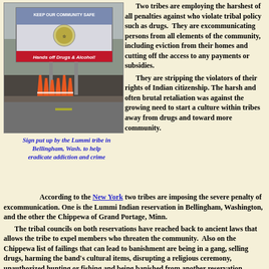[Figure (photo): Sign put up by the Lummi tribe in Bellingham, Washington, reading 'Hands off Drugs & Alcohol!' with orange traffic cones in front]
Sign put up by the Lummi tribe in Bellingham, Wash. to help eradicate addiction and crime
Two tribes are employing the harshest of all penalties against who violate tribal policy such as drugs. They are excommunicating persons from all elements of the community, including eviction from their homes and cutting off the access to any payments or subsidies. They are stripping the violators of their rights of Indian citizenship. The harsh and often brutal retaliation was against the growing need to start a culture within tribes away from drugs and toward more community.
According to the New York Times, two tribes are imposing the severe penalty of excommunication. One is the Lummi Indian reservation in Bellingham, Washington, and the other the Chippewa of Grand Portage, Minn.
The tribal councils on both reservations have reached back to ancient laws that allows the tribe to expel members who threaten the community. Also on the Chippewa list of failings that can lead to banishment are being in a gang, selling drugs, harming the band's cultural items, disrupting a religious ceremony, unauthorized hunting or fishing and being banished from another reservation. Indian tribes are sovereign states, legally not...